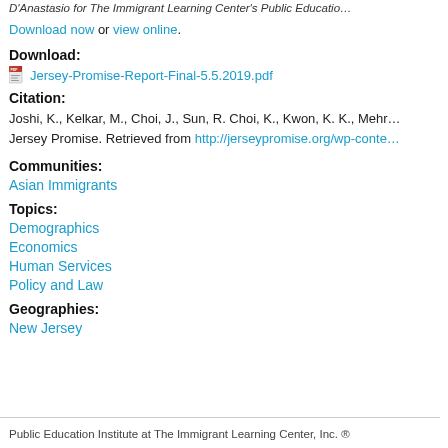D'Anastasio for The Immigrant Learning Center's Public Education…
Download now or view online.
Download:
Jersey-Promise-Report-Final-5.5.2019.pdf
Citation:
Joshi, K., Kelkar, M., Choi, J., Sun, R. Choi, K., Kwon, K. K., Mehr… Jersey Promise. Retrieved from http://jerseypromise.org/wp-conte…
Communities:
Asian Immigrants
Topics:
Demographics
Economics
Human Services
Policy and Law
Geographies:
New Jersey
Public Education Institute at The Immigrant Learning Center, Inc. ®